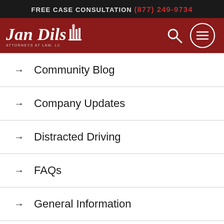FREE CASE CONSULTATION (877) 249-9734
[Figure (logo): Jan Dils Attorneys at Law, LC logo with building/columns icon on dark red background, with search and menu icons]
→ Community Blog
→ Company Updates
→ Distracted Driving
→ FAQs
→ General Information